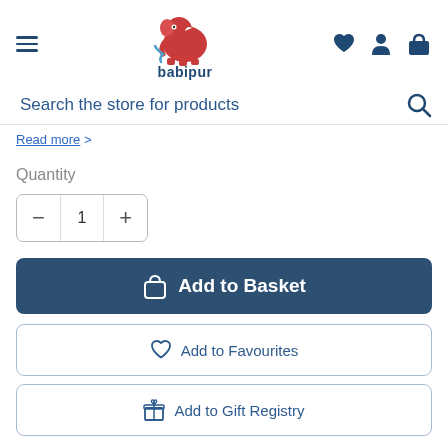babipur — Search the store for products
Read more >
Quantity
− 1 +
Add to Basket
Add to Favourites
Add to Gift Registry